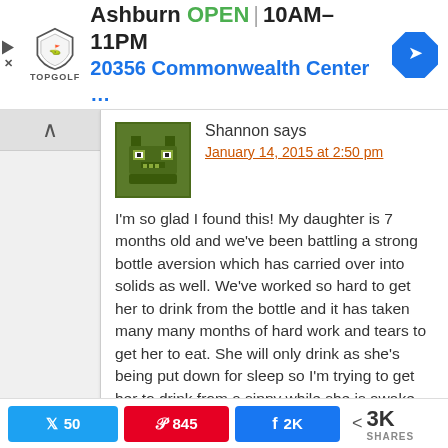[Figure (screenshot): Topgolf advertisement banner showing Ashburn location, OPEN status, hours 10AM-11PM, address 20356 Commonwealth Center, with logo and navigation icon]
Shannon says
January 14, 2015 at 2:50 pm
I'm so glad I found this! My daughter is 7 months old and we've been battling a strong bottle aversion which has carried over into solids as well. We've worked so hard to get her to drink from the bottle and it has taken many many months of hard work and tears to get her to eat. She will only drink as she's being put down for sleep so I'm trying to get her to drink from a sippy while she is awake (without much success). She seems to enjoy straws but of course has a difficult time with it so I'm going to try the Playtex squeezable cup because I
50  845  2K  < 3K SHARES